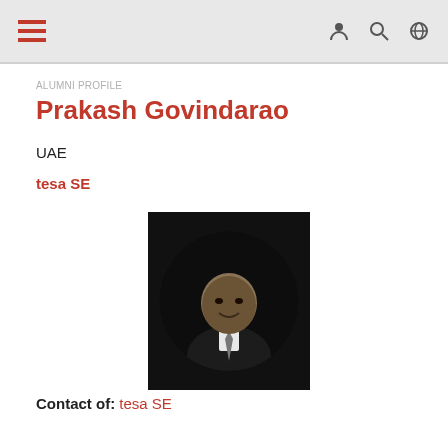Navigation bar with hamburger menu and icons
Prakash Govindarao
UAE
tesa SE
[Figure (photo): Black and white circular portrait photo of Prakash Govindarao in a suit with a tie, smiling, on a dark background]
Contact of: tesa SE